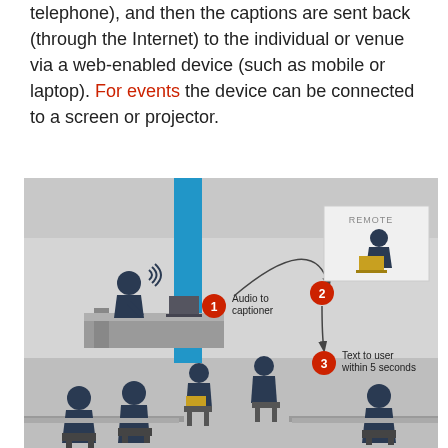telephone), and then the captions are sent back (through the Internet) to the individual or venue via a web-enabled device (such as mobile or laptop). For events the device can be connected to a screen or projector.
[Figure (infographic): Illustration of a remote captioning workflow in an event/conference setting. A presenter at a podium speaks (step 1: Audio to captioner). The audio goes to a remote captioner shown in a panel labeled REMOTE (step 2). Captions are then sent back as text to user within 5 seconds (step 3). Audience members are seated in the foreground with laptops/tablets. The diagram uses dark blue silhouettes on a grey room background with a blue vertical screen/column behind the presenter.]